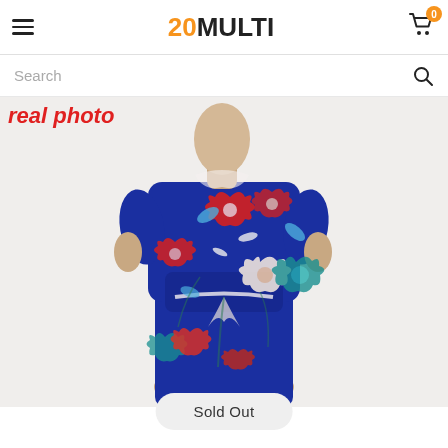20MULTI — hamburger menu, logo, cart (0)
Search
real photo
[Figure (photo): Back view of a mannequin wearing a blue floral short-sleeve fitted jumpsuit/swimsuit with red, white, teal and peach flower patterns and a tie at the waist.]
Sold Out